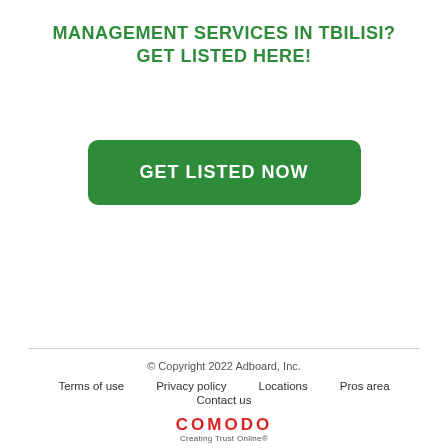MANAGEMENT SERVICES IN TBILISI?
GET LISTED HERE!
GET LISTED NOW
© Copyright 2022 Adboard, Inc.
Terms of use   Privacy policy   Locations   Pros area
Contact us
COMODO Creating Trust Online®